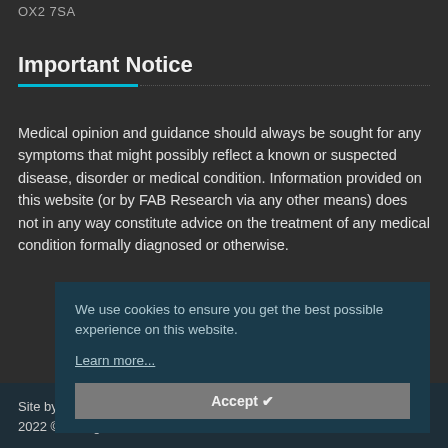OX2 7SA
Important Notice
Medical opinion and guidance should always be sought for any symptoms that might possibly reflect a known or suspected disease, disorder or medical condition. Information provided on this website (or by FAB Research via any other means) does not in any way constitute advice on the treatment of any medical condition formally diagnosed or otherwise.
We use cookies to ensure you get the best possible experience on this website.
Learn more...
Accept ✔
Site by Redstone Websites. Easy to Use Web Content Management. 2022 © All Rights Reserved.